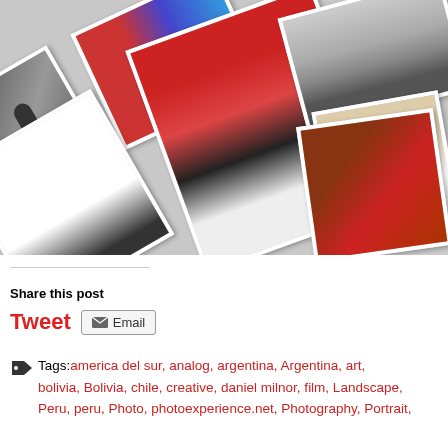[Figure (photo): Collage of rotated photographs including black and white street scene, colorful traditional dancers, person with wide-brim hat, road/landscape, person in white shirt, and colorful market scene]
Share this post
Tweet   Email
Tags: america del sur, analog, argentina, Argentina, art, bolivia, Bolivia, chile, creative, daniel milnor, film, Landscape, Peru, peru, Photo, photoexperience.net, Photography, Portrait,